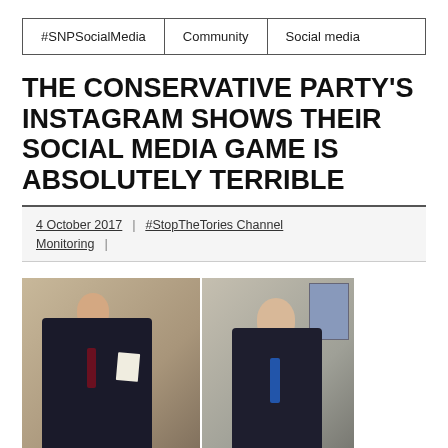#SNPSocialMedia | Community | Social media
THE CONSERVATIVE PARTY'S INSTAGRAM SHOWS THEIR SOCIAL MEDIA GAME IS ABSOLUTELY TERRIBLE
4 October 2017 | #StopTheTories Channel Monitoring |
[Figure (photo): Two men in dark suits in an office setting, shown side by side. Left man is balding and looking down at papers. Right man stands facing forward wearing a blue tie.]